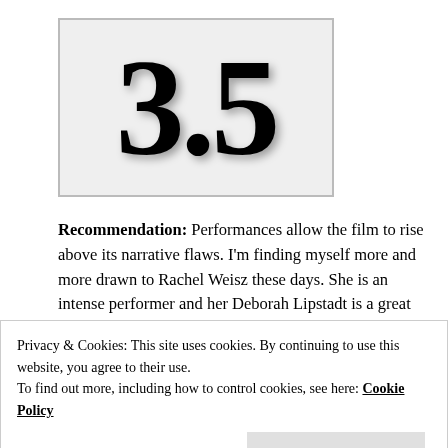[Figure (other): Large bold rating number '3.5' displayed in a light gray bordered box]
Recommendation: Performances allow the film to rise above its narrative flaws. I'm finding myself more and more drawn to Rachel Weisz these days. She is an intense performer and her Deborah Lipstadt is a great example of her skill set. What a resilient
Privacy & Cookies: This site uses cookies. By continuing to use this website, you agree to their use.
To find out more, including how to control cookies, see here: Cookie Policy
Close and accept